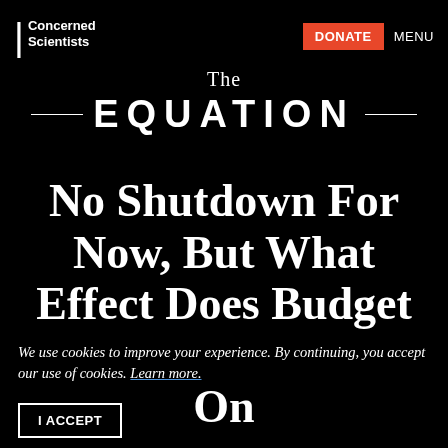Union of Concerned Scientists | DONATE | MENU
The EQUATION
No Shutdown For Now, But What Effect Does Budget Uncertainty Have On
We use cookies to improve your experience. By continuing, you accept our use of cookies. Learn more.
I ACCEPT